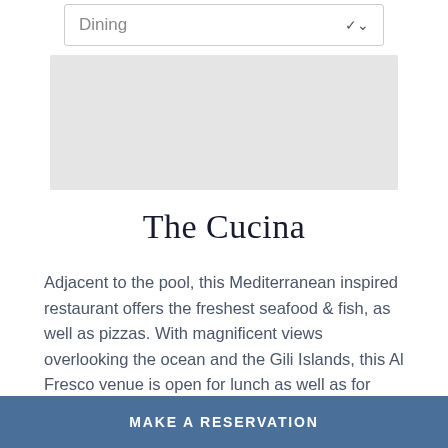Dining
[Figure (photo): Gray placeholder image area for a restaurant photo]
The Cucina
Adjacent to the pool, this Mediterranean inspired restaurant offers the freshest seafood & fish, as well as pizzas. With magnificent views overlooking the ocean and the Gili Islands, this Al Fresco venue is open for lunch as well as for afternoon tea. Cocktails and bites at sunset and casual dining is the perfect setting for a
MAKE A RESERVATION